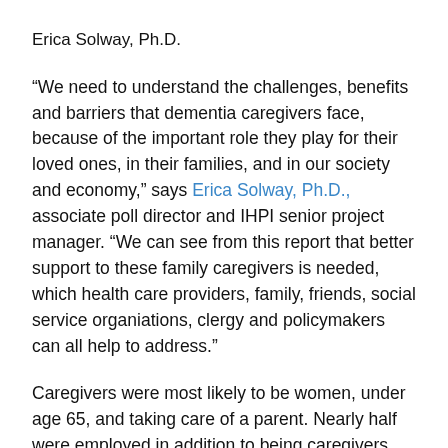Erica Solway, Ph.D.
“We need to understand the challenges, benefits and barriers that dementia caregivers face, because of the important role they play for their loved ones, in their families, and in our society and economy,” says Erica Solway, Ph.D., associate poll director and IHPI senior project manager. “We can see from this report that better support to these family caregivers is needed, which health care providers, family, friends, social service organiations, clergy and policymakers can all help to address.”
Caregivers were most likely to be women, under age 65, and taking care of a parent. Nearly half were employed in addition to being caregivers. They took care of medical needs, household tasks, and other activities to keep their loved one safe. One-quarter said the person they were caring for couldn’t be left